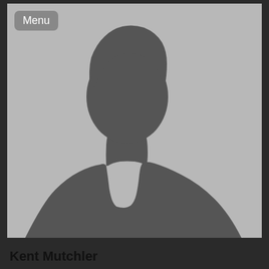[Figure (photo): Default placeholder silhouette of a person (head and shoulders) on a light gray background]
Menu
Kent Mutchler